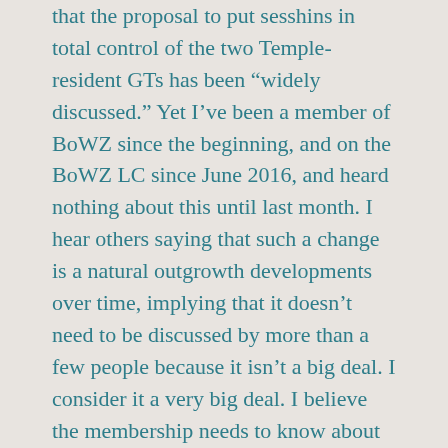that the proposal to put sesshins in total control of the two Temple-resident GTs has been “widely discussed.” Yet I’ve been a member of BoWZ since the beginning, and on the BoWZ LC since June 2016, and heard nothing about this until last month. I hear others saying that such a change is a natural outgrowth developments over time, implying that it doesn’t need to be discussed by more than a few people because it isn’t a big deal. I consider it a very big deal. I believe the membership needs to know about this proposal, and have a chance to voice their views to their teachers and LCs earlier rather than later.
Other details of concern, including a fear of di...